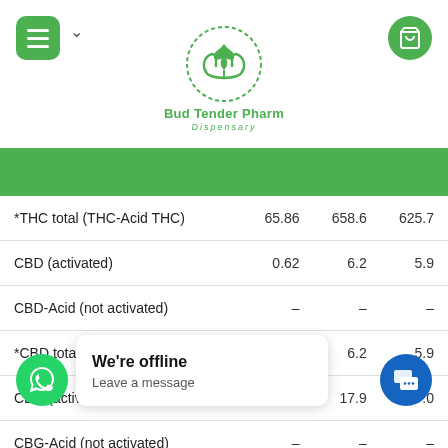[Figure (logo): Bud Tender Pharm Dispensary logo with green hands and cannabis leaf in a dotted circle]
| Compound | Col1 | Col2 | Col3 |
| --- | --- | --- | --- |
| *THC total (THC-Acid THC) | 65.86 | 658.6 | 625.7 |
| CBD (activated) | 0.62 | 6.2 | 5.9 |
| CBD-Acid (not activated) | – | – | – |
| *CBD total (CBD-Acid CBD) | 0.62 | 6.2 | 5.9 |
| CBG (activated) | 1.79 | 17.9 | 17.0 |
| CBG-Acid (not activated) | – | – | – |
| *CBG total (CBG-Acid C…) | – | – | – |
We're offline
Leave a message